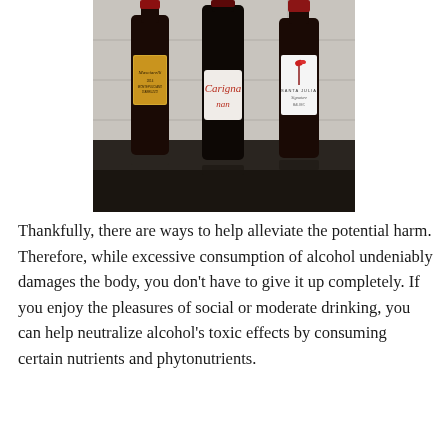[Figure (photo): Three bottles of red wine standing on a dark surface against a tiled background. Left bottle has a Masciarelli Montepulciano d'Abruzzo label. Middle bottle has a Carigna label in red text. Right bottle has a Santa Julia Signature label with a red flower illustration.]
Thankfully, there are ways to help alleviate the potential harm. Therefore, while excessive consumption of alcohol undeniably damages the body, you don't have to give it up completely. If you enjoy the pleasures of social or moderate drinking, you can help neutralize alcohol's toxic effects by consuming certain nutrients and phytonutrients.